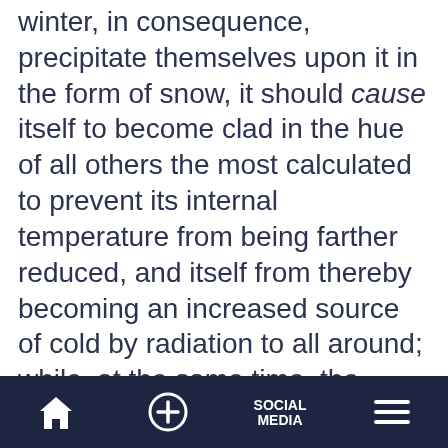winter, in consequence, precipitate themselves upon it in the form of snow, it should cause itself to become clad in the hue of all others the most calculated to prevent its internal temperature from being farther reduced, and itself from thereby becoming an increased source of cold by radiation to all around; while, at the same time, the concretion of snow itself, instead of deluging the country round with superfluous moisture, is thus retained for a time upon the heights, not only to shelter the more tender organized productions of the mountain from severer cold, but also to
🏠  +  SOCIAL MEDIA  ☰